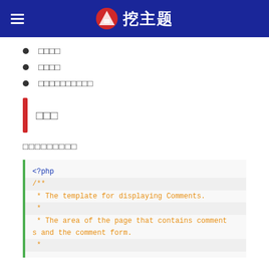挖主题
□□□□
□□□□
□□□□□□□□□□
□□□
□□□□□□□□□
<?php
/**
 * The template for displaying Comments.
 *
 * The area of the page that contains comments and the comment form.
 *